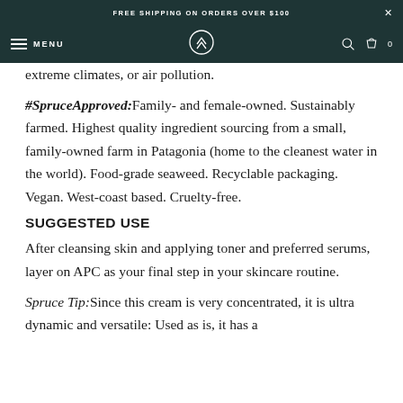FREE SHIPPING ON ORDERS OVER $100
MENU
extreme climates, or air pollution.
#SpruceApproved:Family- and female-owned. Sustainably farmed. Highest quality ingredient sourcing from a small, family-owned farm in Patagonia (home to the cleanest water in the world). Food-grade seaweed. Recyclable packaging. Vegan. West-coast based. Cruelty-free.
SUGGESTED USE
After cleansing skin and applying toner and preferred serums, layer on APC as your final step in your skincare routine.
Spruce Tip:Since this cream is very concentrated, it is ultra dynamic and versatile: Used as is, it has a